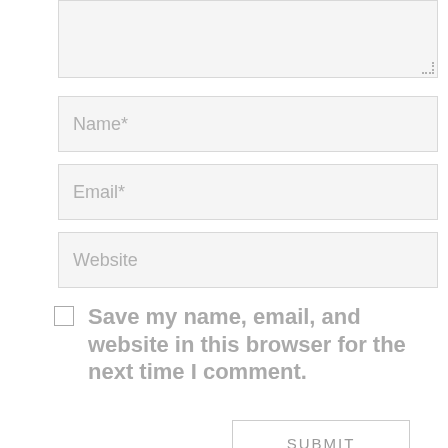[Figure (screenshot): Textarea input box (comment field), partially visible at top, with resize handle at bottom-right corner]
Name*
Email*
Website
Save my name, email, and website in this browser for the next time I comment.
SUBMIT